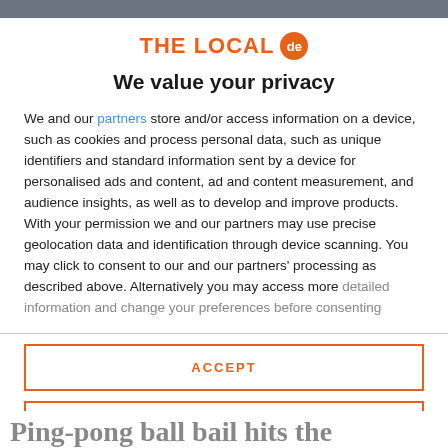[Figure (logo): THE LOCAL de logo with orange text and orange circle badge with 'de' inside]
We value your privacy
We and our partners store and/or access information on a device, such as cookies and process personal data, such as unique identifiers and standard information sent by a device for personalised ads and content, ad and content measurement, and audience insights, as well as to develop and improve products. With your permission we and our partners may use precise geolocation data and identification through device scanning. You may click to consent to our and our partners' processing as described above. Alternatively you may access more detailed information and change your preferences before consenting
ACCEPT
MORE OPTIONS
Ping-pong ball bail hits the